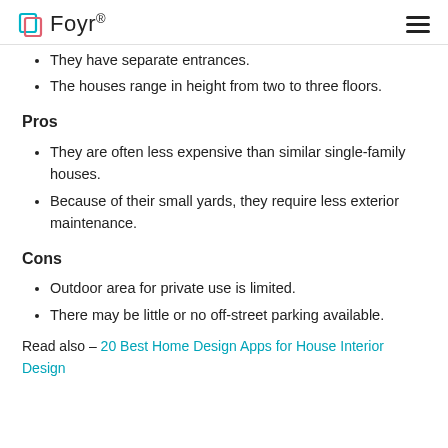Foyr®
They have separate entrances.
The houses range in height from two to three floors.
Pros
They are often less expensive than similar single-family houses.
Because of their small yards, they require less exterior maintenance.
Cons
Outdoor area for private use is limited.
There may be little or no off-street parking available.
Read also – 20 Best Home Design Apps for House Interior Design